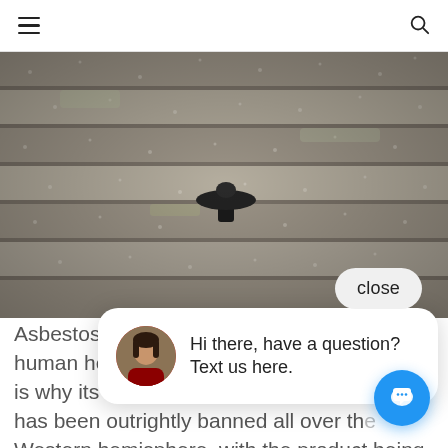[navigation bar with hamburger menu and search icon]
[Figure (photo): Close-up photo of asbestos roof tiles with a small black mushroom-shaped fixing bolt visible in the center. The tiles appear weathered and dusty with white speckled debris.]
close
Hi there, have a question? Text us here.
Asbestos has b[een a highly contested substance] with reference to human health almost two decades back. This is why its usage in the construction industry has been outrightly banned all over the Western hemisphere, with the product being